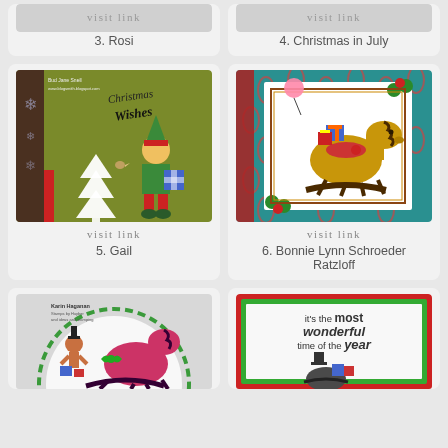[Figure (photo): Christmas card - item 3 Rosi, cropped top]
3. Rosi
[Figure (photo): Christmas card - item 4 Christmas in July, cropped top]
4. Christmas in July
[Figure (photo): Christmas card with elf and Christmas tree on green background - item 5 Gail]
visit link
5. Gail
[Figure (photo): Christmas card with rocking horse and gifts in teal/red pattern - item 6 Bonnie Lynn Schroeder Ratzloff]
visit link
6. Bonnie Lynn Schroeder Ratzloff
[Figure (photo): Christmas card with rocking horse - item 7, partial bottom]
[Figure (photo): Christmas card with most wonderful time of the year text - item 8, partial bottom]